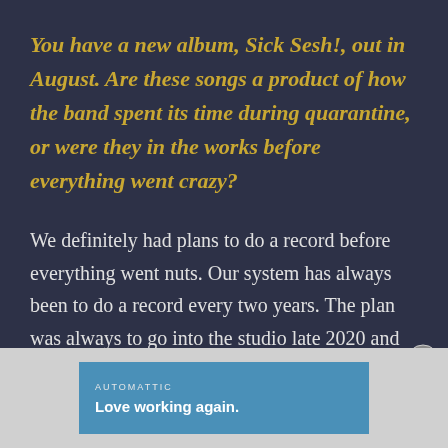You have a new album, Sick Sesh!, out in August. Are these songs a product of how the band spent its time during quarantine, or were they in the works before everything went crazy?
We definitely had plans to do a record before everything went nuts. Our system has always been to do a record every two years. The plan was always to go into the studio late 2020 and
[Figure (other): Advertisement banner for Automattic with tagline 'Love working again.' on a blue background, displayed at bottom of page over a gray bar.]